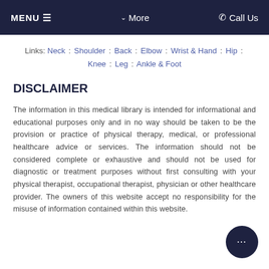MENU ≡   ∨ More   ✆ Call Us
Links: Neck : Shoulder : Back : Elbow : Wrist & Hand : Hip : Knee : Leg : Ankle & Foot
DISCLAIMER
The information in this medical library is intended for informational and educational purposes only and in no way should be taken to be the provision or practice of physical therapy, medical, or professional healthcare advice or services. The information should not be considered complete or exhaustive and should not be used for diagnostic or treatment purposes without first consulting with your physical therapist, occupational therapist, physician or other healthcare provider. The owners of this website accept no responsibility for the misuse of information contained within this website.